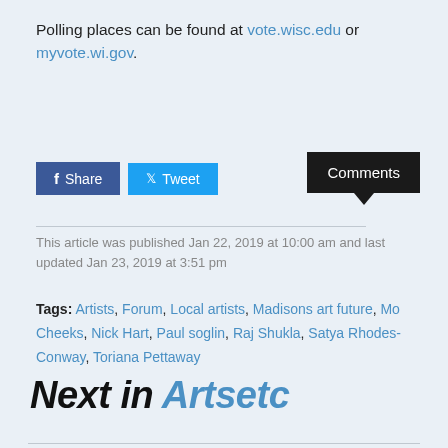Polling places can be found at vote.wisc.edu or myvote.wi.gov.
Share  Tweet  Comments
This article was published Jan 22, 2019 at 10:00 am and last updated Jan 23, 2019 at 3:51 pm
Tags: Artists, Forum, Local artists, Madisons art future, Mo Cheeks, Nick Hart, Paul soglin, Raj Shukla, Satya Rhodes-Conway, Toriana Pettaway
Next in Artsetc